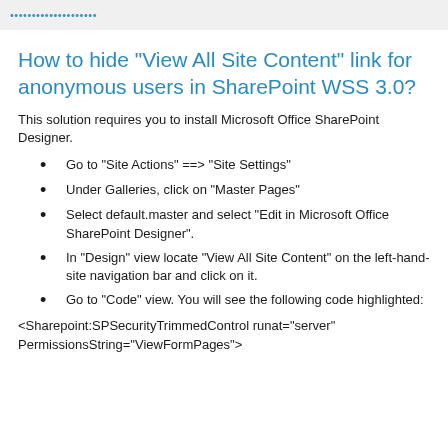How to hide "View All Site Content" link for anonymous users in SharePoint WSS 3.0?
This solution requires you to install Microsoft Office SharePoint Designer.
Go to "Site Actions" ==> "Site Settings"
Under Galleries, click on "Master Pages"
Select default.master and select "Edit in Microsoft Office SharePoint Designer".
In "Design" view locate "View All Site Content" on the left-hand-site navigation bar and click on it.
Go to "Code" view. You will see the following code highlighted:
<Sharepoint:SPSecurityTrimmedControl runat="server" PermissionsString="ViewFormPages">